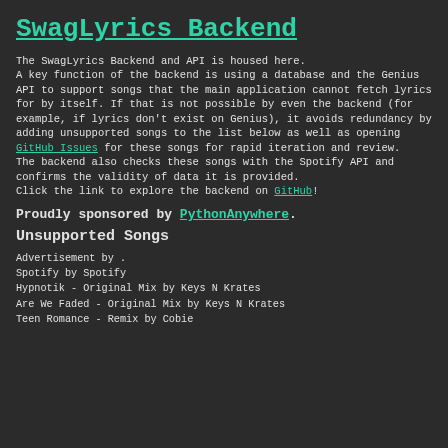SwagLyrics Backend
The SwagLyrics Backend and API is housed here.
A key function of the backend is using a database and the Genius API to support songs that the main application cannot fetch lyrics for by itself. If that is not possible by even the backend (for example, if lyrics don't exist on Genius), it avoids redundancy by adding unsupported songs to the list below as well as opening GitHub Issues for these songs for rapid iteration and review.
The backend also checks these songs with the Spotify API and confirms the validity of data it is provided.
Click the link to explore the backend on GitHub!
Proudly sponsored by PythonAnywhere.
Unsupported Songs
Advertisement by .
Spotify by Spotify
Hypnotik - Original Mix by Keys N Krates
Are We Faded - Original Mix by Keys N Krates
Teen Romance - Remix by Cobie